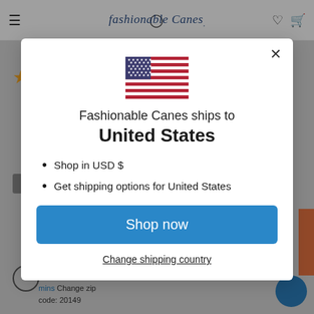[Figure (screenshot): Background of e-commerce website (Fashionable Canes) showing header with navigation icons, a star rating, and bottom page content partially visible behind a modal overlay.]
[Figure (illustration): United States flag SVG illustration displayed at the top of the modal dialog.]
Fashionable Canes ships to
United States
Shop in USD $
Get shipping options for United States
Shop now
Change shipping country